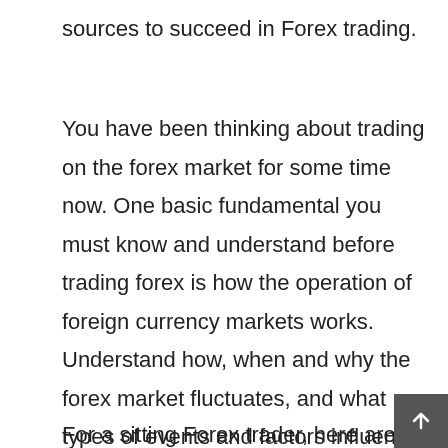sources to succeed in Forex trading.
You have been thinking about trading on the forex market for some time now. One basic fundamental you must know and understand before trading forex is how the operation of foreign currency markets works. Understand how, when and why the forex market fluctuates, and what types of events and factors influence the market’s movements. Study up on the wide variety of foreign currencies that traders exchange in the market. The more knowledgeable you are, the more likely you will be to select currencies that are going to grow more valuable.
For a sitting Forex trader, here are some E...